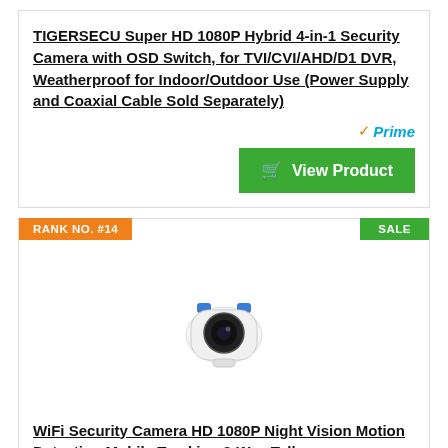TIGERSECU Super HD 1080P Hybrid 4-in-1 Security Camera with OSD Switch, for TVI/CVI/AHD/D1 DVR, Weatherproof for Indoor/Outdoor Use (Power Supply and Coaxial Cable Sold Separately)
[Figure (other): Amazon Prime badge with orange checkmark and blue Prime text]
[Figure (other): Green 'View Product' button with shopping cart icon]
RANK NO. #14
SALE
[Figure (photo): White WiFi security camera with blue accent ears/fins on top, black lens in center, shown on white background]
WiFi Security Camera HD 1080P Night Vision Motion Detection Mobile Tracking 2-Way Talk